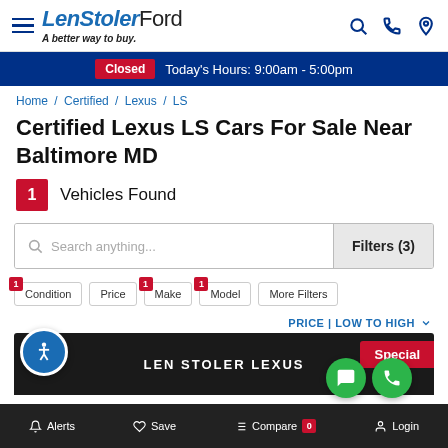LenStoler Ford - A better way to buy.
Closed  Today's Hours: 9:00am - 5:00pm
Home / Certified / Lexus / LS
Certified Lexus LS Cars For Sale Near Baltimore MD
1 Vehicles Found
Search anything...  Filters (3)
Condition  Price  Make  Model  More Filters
PRICE | LOW TO HIGH
[Figure (screenshot): LEN STOLER LEXUS dealer banner with Special badge]
Alerts  Save  Compare 0  Login